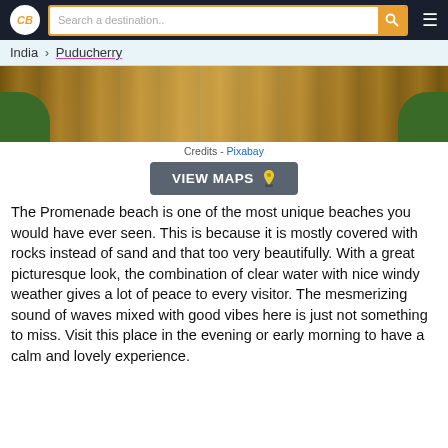CB | Search a destination..
India > Puducherry
[Figure (photo): Wooden boardwalk/deck photo with green vegetation at corners]
Credits - Pixabay
VIEW MAPS
The Promenade beach is one of the most unique beaches you would have ever seen. This is because it is mostly covered with rocks instead of sand and that too very beautifully. With a great picturesque look, the combination of clear water with nice windy weather gives a lot of peace to every visitor. The mesmerizing sound of waves mixed with good vibes here is just not something to miss. Visit this place in the evening or early morning to have a calm and lovely experience.